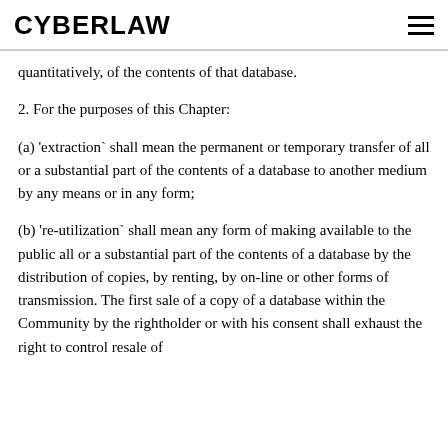CYBERLAW
quantitatively, of the contents of that database.
2. For the purposes of this Chapter:
(a) 'extraction` shall mean the permanent or temporary transfer of all or a substantial part of the contents of a database to another medium by any means or in any form;
(b) 're-utilization` shall mean any form of making available to the public all or a substantial part of the contents of a database by the distribution of copies, by renting, by on-line or other forms of transmission. The first sale of a copy of a database within the Community by the rightholder or with his consent shall exhaust the right to control resale of